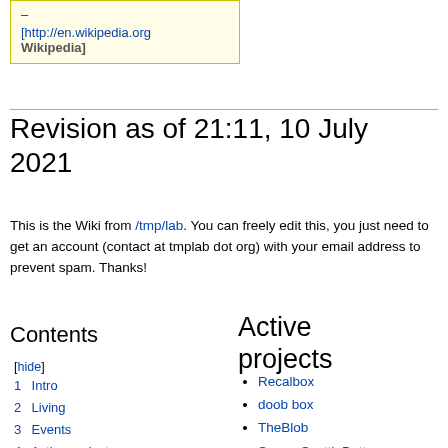[Figure (other): Wikipedia link box with yellow border and background showing [http://en.wikipedia.org Wikipedia]]
Revision as of 21:11, 10 July 2021
This is the Wiki from /tmp/lab. You can freely edit this, you just need to get an account (contact at tmplab dot org) with your email address to prevent spam. Thanks!
Contents
[hide]
1  Intro
2  Living
3  Events
4  Active projects
5  Documentation
Active projects
Recalbox
doob box
TheBlob
SecureScuttleButt